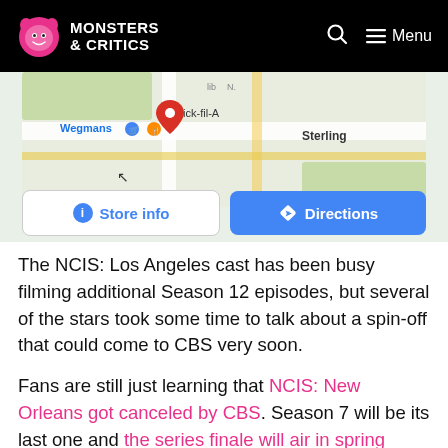Monsters & Critics
[Figure (screenshot): Google Maps screenshot showing Wegmans and Chick-fil-A locations near Sterling, with Store info and Directions buttons below]
The NCIS: Los Angeles cast has been busy filming additional Season 12 episodes, but several of the stars took some time to talk about a spin-off that could come to CBS very soon.
Fans are still just learning that NCIS: New Orleans got canceled by CBS. Season 7 will be its last one and the series finale will air in spring 2021. The cancellation of NCIS: NOLA means